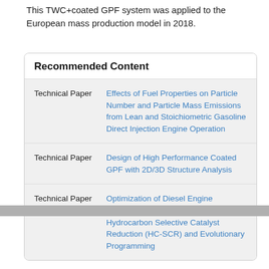This TWC+coated GPF system was applied to the European mass production model in 2018.
Recommended Content
| Type | Title |
| --- | --- |
| Technical Paper | Effects of Fuel Properties on Particle Number and Particle Mass Emissions from Lean and Stoichiometric Gasoline Direct Injection Engine Operation |
| Technical Paper | Design of High Performance Coated GPF with 2D/3D Structure Analysis |
| Technical Paper | Optimization of Diesel Engine Aftertreatment System with a Model of Hydrocarbon Selective Catalyst Reduction (HC-SCR) and Evolutionary Programming |